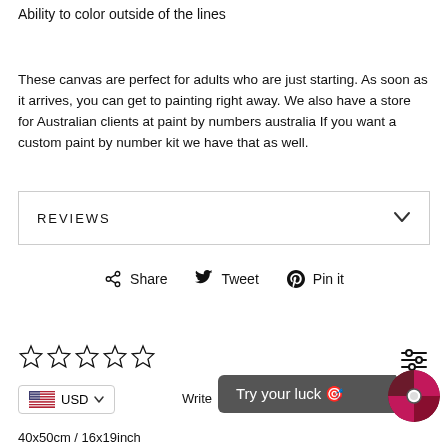Ability to color outside of the lines
These canvas are perfect for adults who are just starting. As soon as it arrives, you can get to painting right away. We also have a store for Australian clients at paint by numbers australia If you want a custom paint by number kit we have that as well.
REVIEWS
Share  Tweet  Pin it
☆☆☆☆☆
USD
Write
Try your luck 🎯
40x50cm / 16x19inch